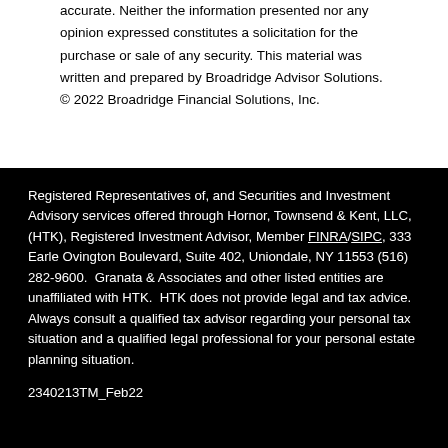accurate. Neither the information presented nor any opinion expressed constitutes a solicitation for the purchase or sale of any security. This material was written and prepared by Broadridge Advisor Solutions. © 2022 Broadridge Financial Solutions, Inc.
Registered Representatives of, and Securities and Investment Advisory services offered through Hornor, Townsend & Kent, LLC, (HTK), Registered Investment Advisor, Member FINRA/SIPC, 333 Earle Ovington Boulevard, Suite 402, Uniondale, NY 11553 (516) 282-9600. Granata & Associates and other listed entities are unaffiliated with HTK. HTK does not provide legal and tax advice. Always consult a qualified tax advisor regarding your personal tax situation and a qualified legal professional for your personal estate planning situation.
2340213TM_Feb22